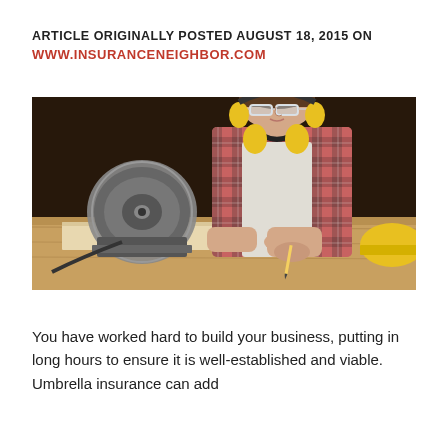ARTICLE ORIGINALLY POSTED AUGUST 18, 2015 ON WWW.INSURANCENEIGHBOR.COM
[Figure (photo): A young male tradesperson wearing safety goggles and yellow ear defenders around his neck, dressed in a plaid shirt, leaning over a wooden workbench and writing or marking on a piece of wood. A circular saw is visible in the background to the left, and a yellow hard hat is partially visible on the right. The workshop setting has a dark background.]
You have worked hard to build your business, putting in long hours to ensure it is well-established and viable. Umbrella insurance can add